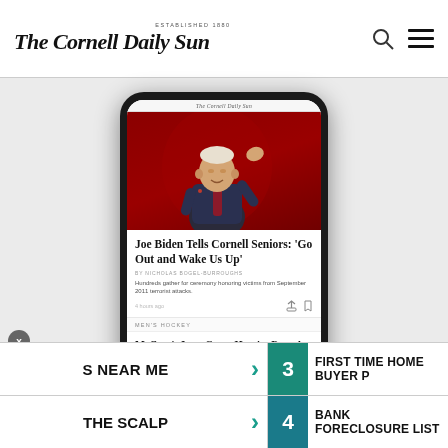The Cornell Daily Sun
[Figure (screenshot): Screenshot of The Cornell Daily Sun mobile app displayed on a smartphone. Shows article: 'Joe Biden Tells Cornell Seniors: Go Out and Wake Us Up' with photo of Biden raising his hand against a red background, byline by Nicholas Bogel-Burroughs, summary 'Hundreds gather for ceremony honoring victims from September 2011 terrorist attacks', followed by Men's Hockey section with article 'McCrea's Late-Game Heroics Propel No. 12/14 Men's Hockey to Victory Over Archrival, Harvard' by Zachary Sliter.]
S NEAR ME
THE SCALP
3 FIRST TIME HOME BUYER P
4 BANK FORECLOSURE LIST